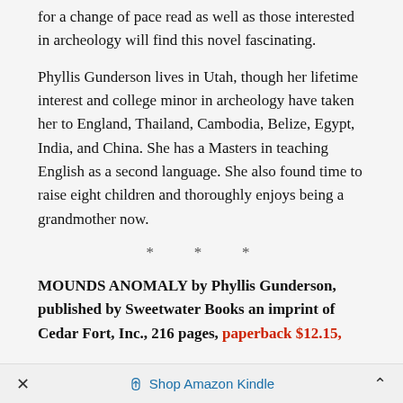for a change of pace read as well as those interested in archeology will find this novel fascinating.
Phyllis Gunderson lives in Utah, though her lifetime interest and college minor in archeology have taken her to England, Thailand, Cambodia, Belize, Egypt, India, and China. She has a Masters in teaching English as a second language. She also found time to raise eight children and thoroughly enjoys being a grandmother now.
* * *
MOUNDS ANOMALY by Phyllis Gunderson, published by Sweetwater Books an imprint of Cedar Fort, Inc., 216 pages, paperback $12.15,
× Shop Amazon Kindle ^